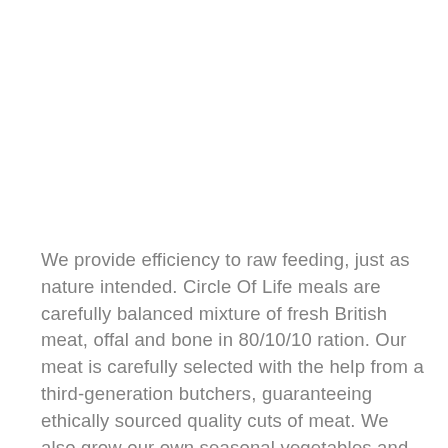We provide efficiency to raw feeding, just as nature intended. Circle Of Life meals are carefully balanced mixture of fresh British meat, offal and bone in 80/10/10 ration. Our meat is carefully selected with the help from a third-generation butchers, guaranteeing ethically sourced quality cuts of meat. We also grow our own seasonal vegetables and locally source the fruits, within 1 mile of our HQ. We also add Scottish salmon oil to all our recipes, enriched in omega 3 that supports a healthy